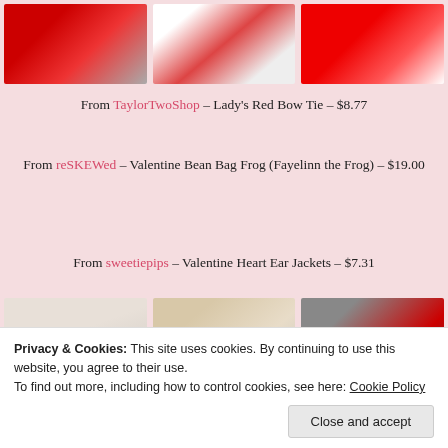[Figure (photo): Three product images at top: red bow tie, red chevron item, red heart item]
From TaylorTwoShop – Lady's Red Bow Tie – $8.77
From reSKEWed – Valentine Bean Bag Frog (Fayelinn the Frog) – $19.00
From sweetiepips – Valentine Heart Ear Jackets – $7.31
[Figure (photo): Three product images at bottom: LOVE tag, greeting card, red heart buttons]
Privacy & Cookies: This site uses cookies. By continuing to use this website, you agree to their use.
To find out more, including how to control cookies, see here: Cookie Policy